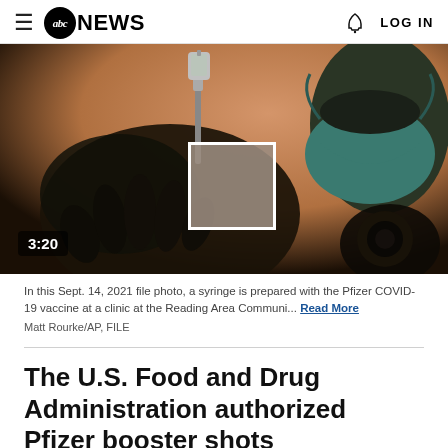≡ abc NEWS   🔔 LOG IN
[Figure (photo): A healthcare worker in a teal surgical mask holding a syringe and vaccine vial with gloved hands. Duration badge shows 3:20. A blurred redacted square overlay is visible on the image.]
In this Sept. 14, 2021 file photo, a syringe is prepared with the Pfizer COVID-19 vaccine at a clinic at the Reading Area Communi... Read More
Matt Rourke/AP, FILE
The U.S. Food and Drug Administration authorized Pfizer booster shots Wednesday for